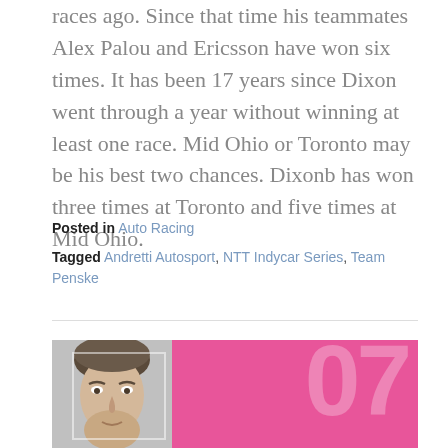races ago. Since that time his teammates Alex Palou and Ericsson have won six times. It has been 17 years since Dixon went through a year without winning at least one race. Mid Ohio or Toronto may be his best two chances. Dixonb has won three times at Toronto and five times at Mid Ohio.
Posted in Auto Racing
Tagged Andretti Autosport, NTT Indycar Series, Team Penske
[Figure (photo): A pink promotional graphic showing a grayscale face portrait on the left and large stylized number characters on the right against a bright pink background, with a white rectangular border overlay.]